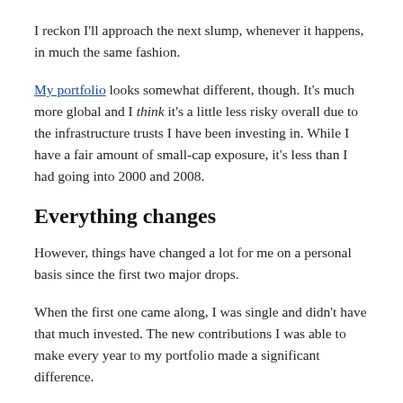I reckon I'll approach the next slump, whenever it happens, in much the same fashion.
My portfolio looks somewhat different, though. It's much more global and I think it's a little less risky overall due to the infrastructure trusts I have been investing in. While I have a fair amount of small-cap exposure, it's less than I had going into 2000 and 2008.
Everything changes
However, things have changed a lot for me on a personal basis since the first two major drops.
When the first one came along, I was single and didn't have that much invested. The new contributions I was able to make every year to my portfolio made a significant difference.